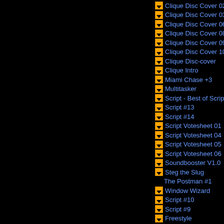Clique Disc Cover 02 ... 1992 D
Clique Disc Cover 03 ... 1992 D
Clique Disc Cover 06 ... 1992 D
Clique Disc Cover 08 ... 1992 D
Clique Disc Cover 09 ... 1992 D
Clique Disc Cover 10 ... 1992 D
Clique Disc-cover ... 1992 D
Clique Intro ... 1992 C
Miami Chase +3 ... 1992 C
Multitasker ... 1992 T
Script - Best of Script ... 1992 D
Script #13 ... 1992 D
Script #14 ... 1992 D
Script Votesheet 01 ... 1992 V
Script Votesheet 04 ... 1992 V
Script Votesheet 05 ... 1992 V
Script Votesheet 06 ... 1992 V
Soundbooster V1.0 ... 1992 C
Steg the Slug ... 1992 C
The Postman #1 ... 1992 D
Window Wizard ... 1992 T
Script #10 ... 1991 D
Script #9 ... 1991 D
Freestyle ... 1991 D